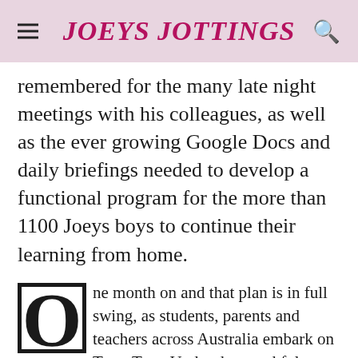JOEYS JOTTINGS
remembered for the many late night meetings with his colleagues, as well as the ever growing Google Docs and daily briefings needed to develop a functional program for the more than 1100 Joeys boys to continue their learning from home.
One month on and that plan is in full swing, as students, parents and teachers across Australia embark on Term Two. Under the watchful gaze of a kookaburra, Mr Bookallil opens his laptop, logs